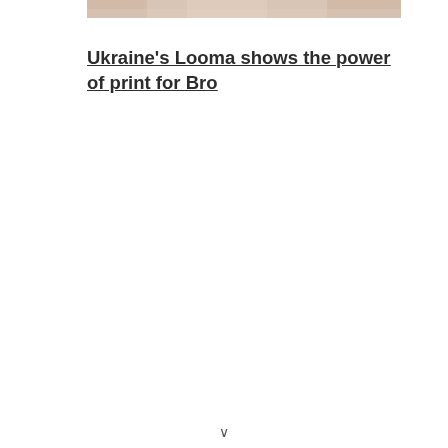[Figure (photo): Partial photo of a person, cropped at the top of the page, showing skin tones in beige and warm hues]
Ukraine's Looma shows the power of print for Bro
∨